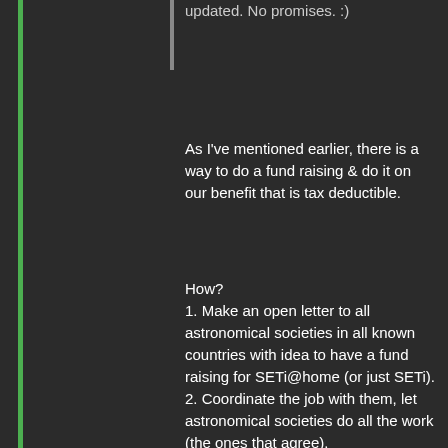updated. No promises. :)
As I've mentioned earlier, there is a way to do a fund raising & do it on our benefit that is tax deductible.
How?
1. Make an open letter to all astronomical societies in all known countries with idea to have a fund raising for SETi@home (or just SETi).
2. Coordinate the job with them, let astronomical societies do all the work (the ones that agree).
3. When astronomical societies gather all the money - send it to SETi/Planetary society.
4. On the end of the year we get tax deduction for "giving money domestically to science project of